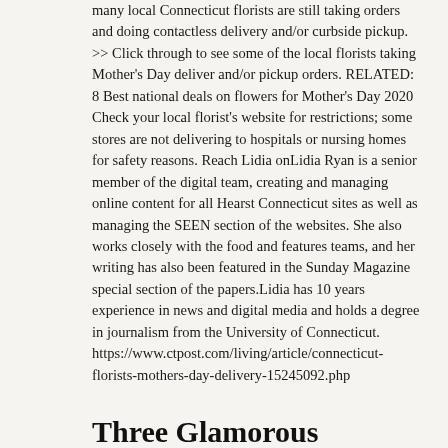many local Connecticut florists are still taking orders and doing contactless delivery and/or curbside pickup. >> Click through to see some of the local florists taking Mother's Day deliver and/or pickup orders. RELATED: 8 Best national deals on flowers for Mother's Day 2020 Check your local florist's website for restrictions; some stores are not delivering to hospitals or nursing homes for safety reasons. Reach Lidia onLidia Ryan is a senior member of the digital team, creating and managing online content for all Hearst Connecticut sites as well as managing the SEEN section of the websites. She also works closely with the food and features teams, and her writing has also been featured in the Sunday Magazine special section of the papers.Lidia has 10 years experience in news and digital media and holds a degree in journalism from the University of Connecticut. https://www.ctpost.com/living/article/connecticut-florists-mothers-day-delivery-15245092.php
Three Glamorous Gardens for Your Outdoor Wedding Celebration - Boston magazine
Wednesday, December 02, 2020
Elizabeth Park. Located in West Hartford, Connecticut, the scenic space encompasses more than 100 acres of land. Stop and smell the roses (and get hitched while you're at it) in the historical Rose Garden...